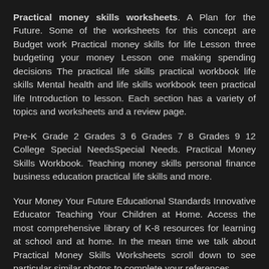Practical money skills worksheets. A Plan for the Future. Some of the worksheets for this concept are Budget work Practical money skills for life Lesson three budgeting your money Lesson one making spending decisions The practical life skills practical workbook life skills Mental health and life skills workbook teen practical life Introduction to lesson. Each section has a variety of topics and worksheets and a review page.
Pre-K Grade 2 Grades 3 6 Grades 7 8 Grades 9 12 College Special NeedsSpecial Needs. Practical Money Skills Workbook. Teaching money skills personal finance business education practical life skills and more.
Your Money Your Future Educational Standards Innovative Educator Teaching Your Children at Home. Access the most comprehensive library of K-8 resources for learning at school and at home. In the mean time we talk about Practical Money Skills Worksheets scroll down to see particular similar photos to complete your references.
Real-life math building skills life skills activity worksheets and social skills training worksheets are three of main things we will